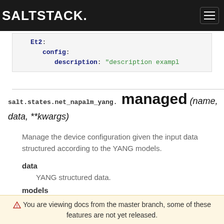SALTSTACK.
[Figure (screenshot): Code block showing YAML configuration: Et2: config: description: "description exampl..."]
salt.states.net_napalm_yang. managed (name, data, **kwargs)
Manage the device configuration given the input data structured according to the YANG models.
data
YANG structured data.
models
A list of models to be used when generating the config.
⚠ You are viewing docs from the master branch, some of these features are not yet released.